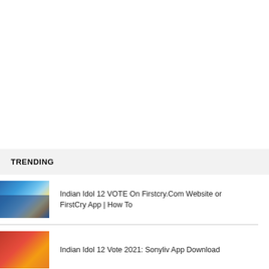TRENDING
Indian Idol 12 VOTE On Firstcry.Com Website or FirstCry App | How To
Indian Idol 12 Vote 2021: Sonyliv App Download